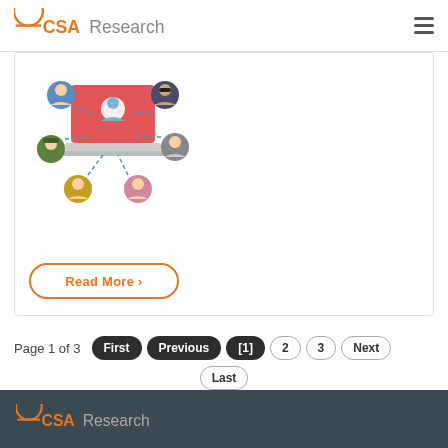CSA Research
[Figure (illustration): Network diagram illustration showing a laptop with a person on screen connected to 6 people icons arranged around it via dashed lines, representing a video conference or online network]
Read More >
Page 1 of 3  First  Previous  [1]  2  3  Next  Last
CSA Research  About Us